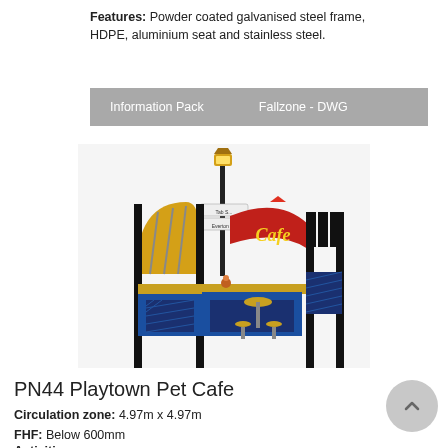Features: Powder coated galvanised steel frame, HDPE, aluminium seat and stainless steel.
Information Pack    Fallzone - DWG
[Figure (illustration): 3D render of PN44 Playtown Pet Cafe playground unit featuring a cafe-themed play structure with black poles, yellow and red awnings with 'Cafe' signage, a lamp post, blue panels with herringbone pattern, and small round cafe tables with stools.]
PN44 Playtown Pet Cafe
Circulation zone: 4.97m x 4.97m
FHF: Below 600mm
Activities:
Imaginative and learning